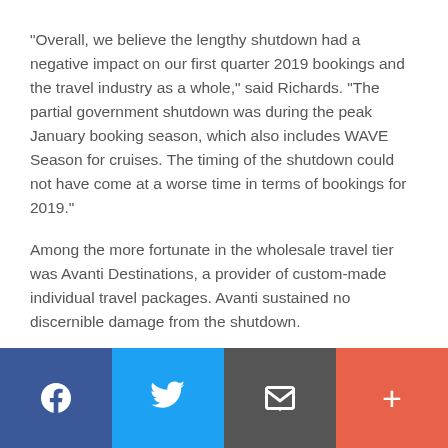"Overall, we believe the lengthy shutdown had a negative impact on our first quarter 2019 bookings and the travel industry as a whole," said Richards. "The partial government shutdown was during the peak January booking season, which also includes WAVE Season for cruises. The timing of the shutdown could not have come at a worse time in terms of bookings for 2019."
Among the more fortunate in the wholesale travel tier was Avanti Destinations, a provider of custom-made individual travel packages. Avanti sustained no discernible damage from the shutdown.
Social share bar: Facebook, Twitter, Email, More